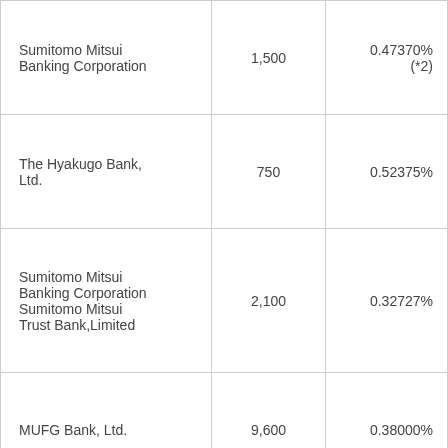| Sumitomo Mitsui Banking Corporation | 1,500 | 0.47370%
(*2) |
| The Hyakugo Bank, Ltd. | 750 | 0.52375% |
| Sumitomo Mitsui Banking Corporation
Sumitomo Mitsui Trust Bank,Limited | 2,100 | 0.32727% |
| MUFG Bank, Ltd. | 9,600 | 0.38000% |
| Sumitomo Mitsui Trust Bank,Limited | 3,400 | 0.35596% |